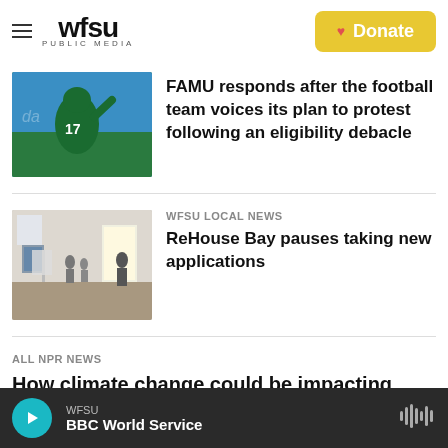WFSU PUBLIC MEDIA — Donate
[Figure (screenshot): Thumbnail of a football player in green #17 jersey on field]
FAMU responds after the football team voices its plan to protest following an eligibility debacle
[Figure (photo): Interior room with people standing, bright doorway in background]
WFSU Local News
ReHouse Bay pauses taking new applications
All NPR News
How climate change could be impacting pathogenic diseases
WFSU — BBC World Service